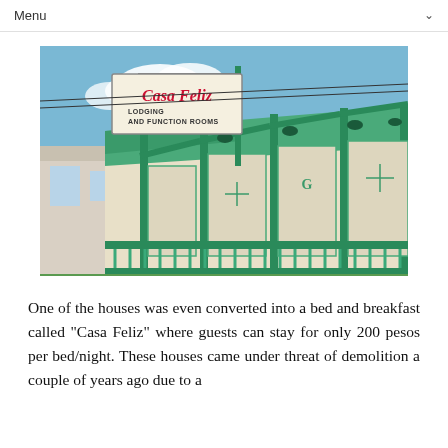Menu
[Figure (photo): Exterior photograph of Casa Feliz, a heritage building with green-painted ornate wooden facade and a hanging sign reading 'Casa Feliz - Lodging and Function Rooms']
One of the houses was even converted into a bed and breakfast called "Casa Feliz" where guests can stay for only 200 pesos per bed/night. These houses came under threat of demolition a couple of years ago due to a